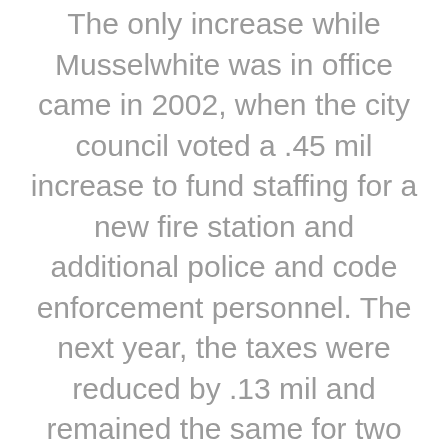The only increase while Musselwhite was in office came in 2002, when the city council voted a .45 mil increase to fund staffing for a new fire station and additional police and code enforcement personnel. The next year, the taxes were reduced by .13 mil and remained the same for two years. An increase of .29 mils was approved after Musselwhite resigned from the council to run for the senate seat. The piece goes on to suggest that